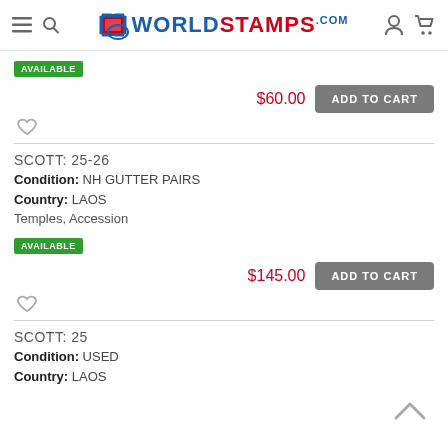WorldStamps.com
AVAILABLE
$60.00
ADD TO CART
SCOTT: 25-26
Condition: NH GUTTER PAIRS
Country: LAOS
Temples, Accession
AVAILABLE
$145.00
ADD TO CART
SCOTT: 25
Condition: USED
Country: LAOS